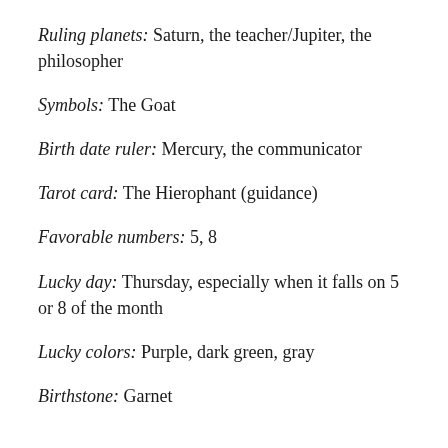Ruling planets: Saturn, the teacher/Jupiter, the philosopher
Symbols: The Goat
Birth date ruler: Mercury, the communicator
Tarot card: The Hierophant (guidance)
Favorable numbers: 5, 8
Lucky day: Thursday, especially when it falls on 5 or 8 of the month
Lucky colors: Purple, dark green, gray
Birthstone: Garnet